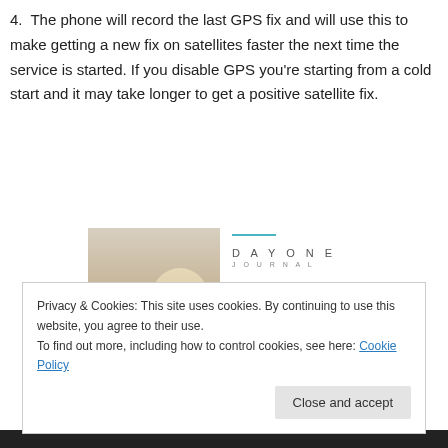4. The phone will record the last GPS fix and will use this to make getting a new fix on satellites faster the next time the service is started. If you disable GPS you're starting from a cold start and it may take longer to get a positive satellite fix.
[Figure (photo): Advertisement for Day One Journal app showing a person photographing a sunset, with text 'Over 150,000 5-star reviews' and five star rating.]
Privacy & Cookies: This site uses cookies. By continuing to use this website, you agree to their use.
To find out more, including how to control cookies, see here: Cookie Policy
Close and accept